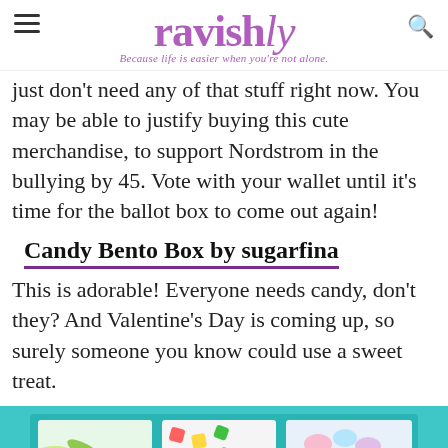ravishly — Because life is easier when you're not alone.
just don't need any of that stuff right now. You may be able to justify buying this cute merchandise, to support Nordstrom in the bullying by 45. Vote with your wallet until it's time for the ballot box to come out again!
Candy Bento Box by sugarfina
This is adorable! Everyone needs candy, don't they? And Valentine's Day is coming up, so surely someone you know could use a sweet treat.
[Figure (photo): A teal/turquoise candy bento box with three compartments containing assorted colorful candies — gummy worms, sour patches, and pastel sweets.]